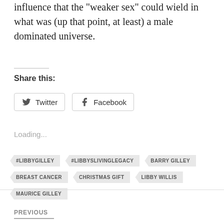influence that the "weaker sex" could wield in what was (up that point, at least) a male dominated universe.
Share this:
Twitter
Facebook
Loading...
#LIBBYGILLEY
#LIBBYSLIVINGLEGACY
BARRY GILLEY
BREAST CANCER
CHRISTMAS GIFT
LIBBY WILLIS
MAURICE GILLEY
PREVIOUS